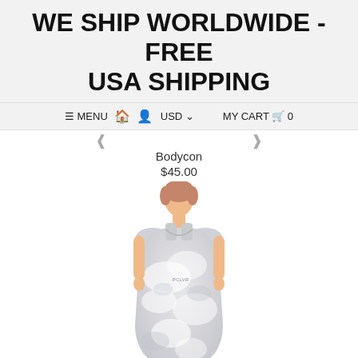WE SHIP WORLDWIDE - FREE USA SHIPPING
≡ MENU   🏠   👤   USD ∨     MY CART 🛒 0
Bodycon
$45.00
[Figure (photo): A female model wearing a white and grey cloud/tie-dye pattern sleeveless bodycon dress with a small logo 'PCLVR' on the chest.]